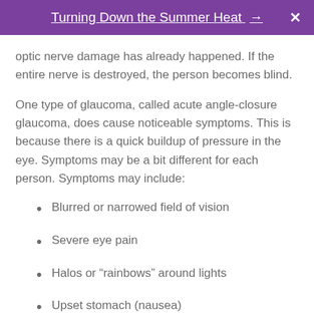Turning Down the Summer Heat →
optic nerve damage has already happened. If the entire nerve is destroyed, the person becomes blind.
One type of glaucoma, called acute angle-closure glaucoma, does cause noticeable symptoms. This is because there is a quick buildup of pressure in the eye. Symptoms may be a bit different for each person. Symptoms may include:
Blurred or narrowed field of vision
Severe eye pain
Halos or “rainbows” around lights
Upset stomach (nausea)
Vomiting